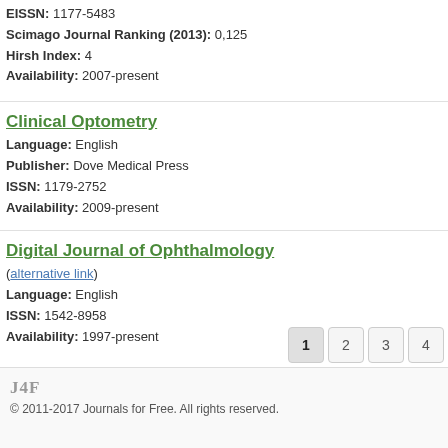EISSN: 1177-5483
Scimago Journal Ranking (2013): 0,125
Hirsh Index: 4
Availability: 2007-present
Clinical Optometry
Language: English
Publisher: Dove Medical Press
ISSN: 1179-2752
Availability: 2009-present
Digital Journal of Ophthalmology
(alternative link)
Language: English
ISSN: 1542-8958
Availability: 1997-present
J4F
© 2011-2017 Journals for Free. All rights reserved.